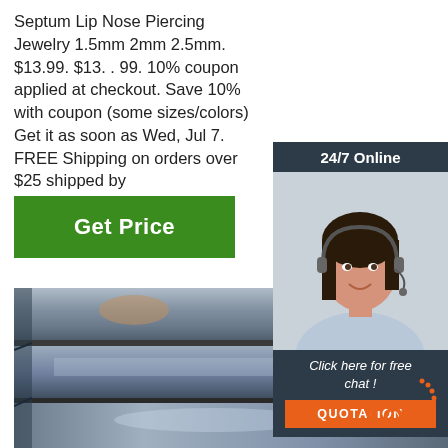Septum Lip Nose Piercing Jewelry 1.5mm 2mm 2.5mm. $13.99. $13. . 99. 10% coupon applied at checkout. Save 10% with coupon (some sizes/colors) Get it as soon as Wed, Jul 7. FREE Shipping on orders over $25 shipped by
[Figure (other): Customer service agent widget with '24/7 Online' header, photo of smiling woman with headset, 'Click here for free chat!' text, and orange QUOTATION button]
[Figure (photo): Close-up photo of stacked metallic/steel sheets or plates]
[Figure (other): Orange 'TOP' badge with dotted arc in bottom right corner]